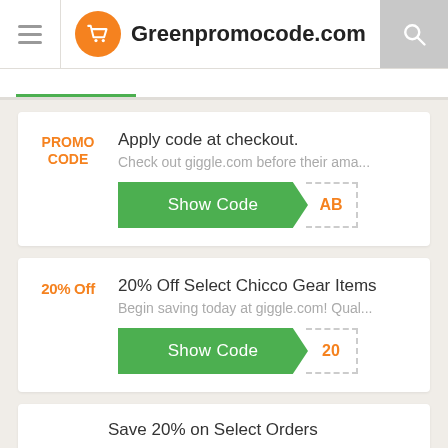Greenpromocode.com
Apply code at checkout.
Check out giggle.com before their ama...
Show Code AB
20% Off Select Chicco Gear Items
Begin saving today at giggle.com! Qual...
Show Code 20
Save 20% on Select Orders